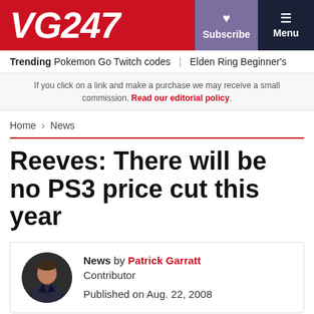VG247 | Subscribe | Menu
Trending  Pokemon Go Twitch codes  |  Elden Ring Beginner's
If you click on a link and make a purchase we may receive a small commission. Read our editorial policy.
Home > News
Reeves: There will be no PS3 price cut this year
News by Patrick Garratt
Contributor

Published on Aug. 22, 2008